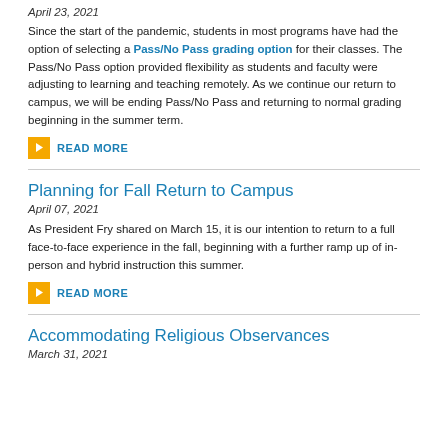April 23, 2021
Since the start of the pandemic, students in most programs have had the option of selecting a Pass/No Pass grading option for their classes. The Pass/No Pass option provided flexibility as students and faculty were adjusting to learning and teaching remotely. As we continue our return to campus, we will be ending Pass/No Pass and returning to normal grading beginning in the summer term.
READ MORE
Planning for Fall Return to Campus
April 07, 2021
As President Fry shared on March 15, it is our intention to return to a full face-to-face experience in the fall, beginning with a further ramp up of in-person and hybrid instruction this summer.
READ MORE
Accommodating Religious Observances
March 31, 2021